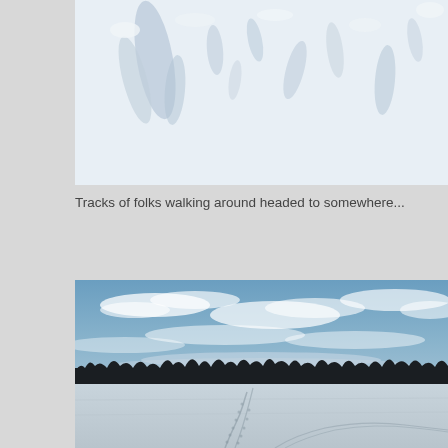[Figure (photo): Close-up aerial view of snow surface showing footprints and tracks in the snow]
Tracks of folks walking around headed to somewhere...
[Figure (photo): Wide landscape photo of a frozen lake or field in winter with footprints/tracks visible on the snow-covered surface, a treeline silhouette in the middle distance, and a blue sky with wispy clouds above]